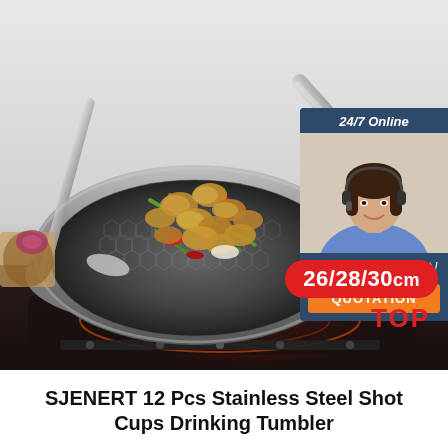[Figure (photo): Product photo of a stainless steel honeycomb-patterned non-stick wok/frying pan with a metal spatula, filled with clams cooked with green beans and red peppers, sitting on an induction cooktop. Background is light grey. Overlaid: a customer service chat widget (24/7 Online, agent photo, Click here for free chat!, QUOTATION button), a red pill-shaped badge reading '26/28/30cm', and a red TOP label.]
SJENERT 12 Pcs Stainless Steel Shot Cups Drinking Tumbler